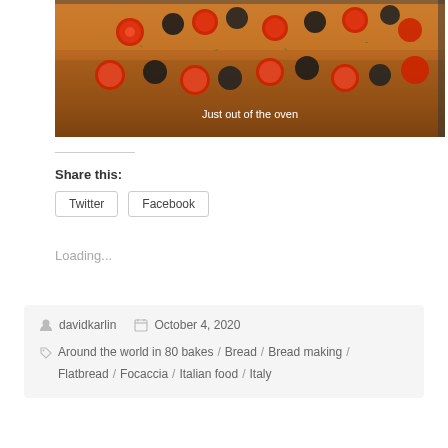[Figure (photo): Focaccia bread topped with cherry tomatoes and black olives, just out of the oven on a baking tray. Text overlay reads 'Just out of the oven'.]
Share this:
Twitter
Facebook
Loading...
davidkarlin  October 4, 2020  Around the world in 80 bakes / Bread / Bread making / Flatbread / Focaccia / Italian food / Italy